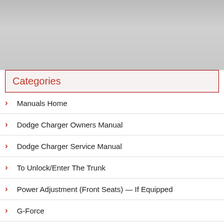[Figure (photo): Top image area showing a vehicle or related imagery (partially visible, cropped)]
Categories
Manuals Home
Dodge Charger Owners Manual
Dodge Charger Service Manual
To Unlock/Enter The Trunk
Power Adjustment (Front Seats) — If Equipped
G-Force
New on site